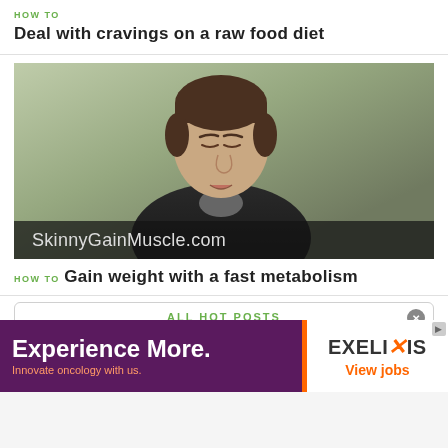HOW TO
Deal with cravings on a raw food diet
[Figure (screenshot): Video thumbnail showing a man with closed eyes wearing a dark shirt, with 'SkinnyGainMuscle.com' watermark text at the bottom of the video frame.]
HOW TO
Gain weight with a fast metabolism
ALL HOT POSTS
[Figure (other): Advertisement banner with purple left panel reading 'Experience More. Innovate oncology with us.' and white right panel showing EXELIXIS logo with 'View jobs' link.]